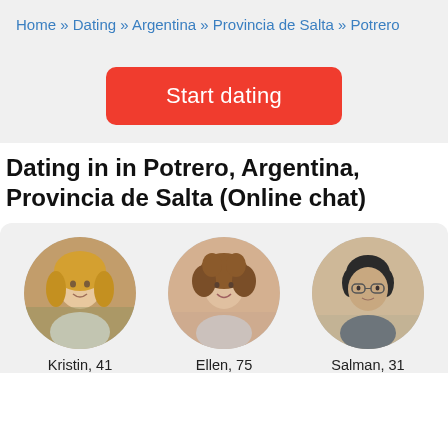Home » Dating » Argentina » Provincia de Salta » Potrero
Start dating
Dating in in Potrero, Argentina, Provincia de Salta (Online chat)
[Figure (photo): Profile photo of Kristin, 41 — blonde woman smiling]
Kristin, 41
[Figure (photo): Profile photo of Ellen, 75 — woman with curly hair smiling]
Ellen, 75
[Figure (photo): Profile photo of Salman, 31 — man with glasses]
Salman, 31